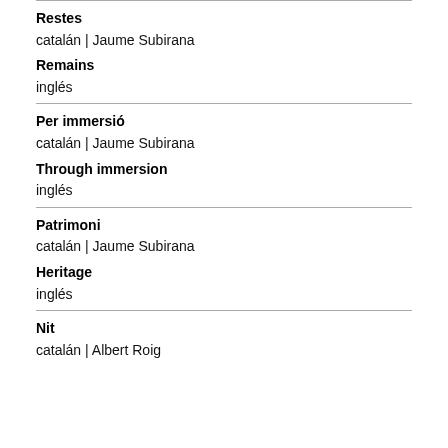Restes
catalán | Jaume Subirana
Remains
inglés
Per immersió
catalán | Jaume Subirana
Through immersion
inglés
Patrimoni
catalán | Jaume Subirana
Heritage
inglés
Nit
catalán | Albert Roig